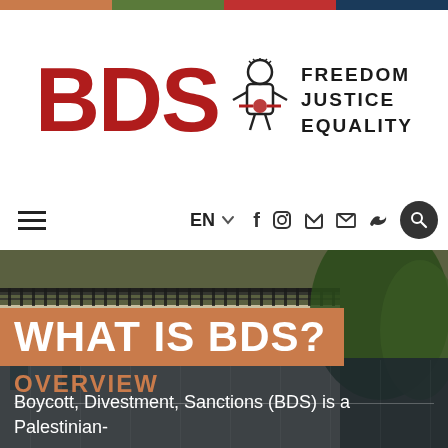[Figure (logo): BDS Movement logo with stylized 'BDS' in dark red, a small figure icon, and tagline 'FREEDOM JUSTICE EQUALITY']
[Figure (photo): Photograph of a building with wrought-iron balcony railings and trees in the background, dark atmospheric tone]
WHAT IS BDS?
OVERVIEW
Boycott, Divestment, Sanctions (BDS) is a Palestinian-